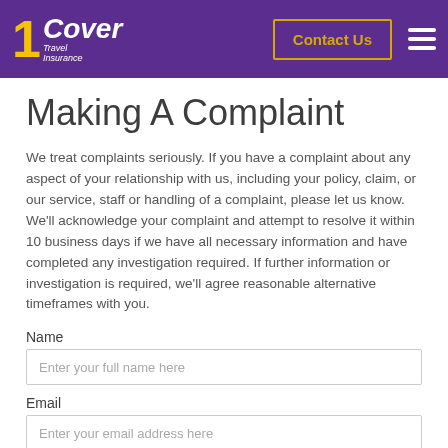1Cover Travel Insurance – Contact Us
Making A Complaint
We treat complaints seriously. If you have a complaint about any aspect of your relationship with us, including your policy, claim, or our service, staff or handling of a complaint, please let us know. We'll acknowledge your complaint and attempt to resolve it within 10 business days if we have all necessary information and have completed any investigation required. If further information or investigation is required, we'll agree reasonable alternative timeframes with you.
Name
Enter your full name here
Email
Enter your email address here
Policy Number (if known/applicable)